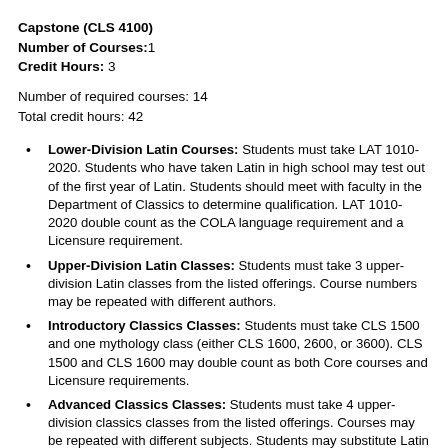Capstone (CLS 4100)
Number of Courses:1
Credit Hours: 3
Number of required courses: 14
Total credit hours: 42
Lower-Division Latin Courses: Students must take LAT 1010-2020. Students who have taken Latin in high school may test out of the first year of Latin. Students should meet with faculty in the Department of Classics to determine qualification. LAT 1010-2020 double count as the COLA language requirement and a Licensure requirement.
Upper-Division Latin Classes: Students must take 3 upper-division Latin classes from the listed offerings. Course numbers may be repeated with different authors.
Introductory Classics Classes: Students must take CLS 1500 and one mythology class (either CLS 1600, 2600, or 3600). CLS 1500 and CLS 1600 may double count as both Core courses and Licensure requirements.
Advanced Classics Classes: Students must take 4 upper-division classics classes from the listed offerings. Courses may be repeated with different subjects. Students may substitute Latin classes beyond those required for the major, or Greek classes, for any of the upper-level classics electives.
CLS 4100: Students must take this class during either their junior or senior year. Students will enroll in this course as a...